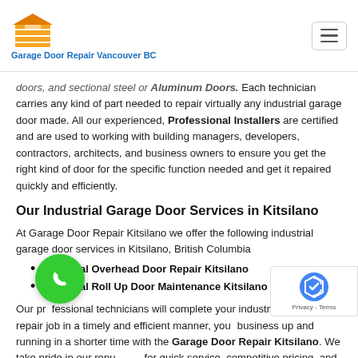Garage Door Repair Vancouver BC
doors, and sectional steel or Aluminum Doors. Each technician carries any kind of part needed to repair virtually any industrial garage door made. All our experienced, Professional Installers are certified and are used to working with building managers, developers, contractors, architects, and business owners to ensure you get the right kind of door for the specific function needed and get it repaired quickly and efficiently.
Our Industrial Garage Door Services in Kitsilano
At Garage Door Repair Kitsilano we offer the following industrial garage door services in Kitsilano, British Columbia
Industrial Overhead Door Repair Kitsilano
Industrial Roll Up Door Maintenance Kitsilano
Our professional technicians will complete your industrial garage door repair job in a timely and efficient manner. getting you back up and running in a shorter time with the help of Garage Door Repair Kitsilano. We take pride in our reputation for quick service, competitive pricing, and dependability, no